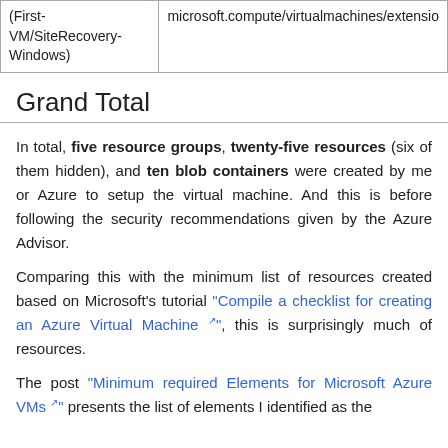| (First-VM/SiteRecovery-Windows) | microsoft.compute/virtualmachines/extensio |
Grand Total
In total, five resource groups, twenty-five resources (six of them hidden), and ten blob containers were created by me or Azure to setup the virtual machine. And this is before following the security recommendations given by the Azure Advisor.
Comparing this with the minimum list of resources created based on Microsoft's tutorial “Compile a checklist for creating an Azure Virtual Machine”, this is surprisingly much of resources.
The post “Minimum required Elements for Microsoft Azure VMs” presents the list of elements I identified as the